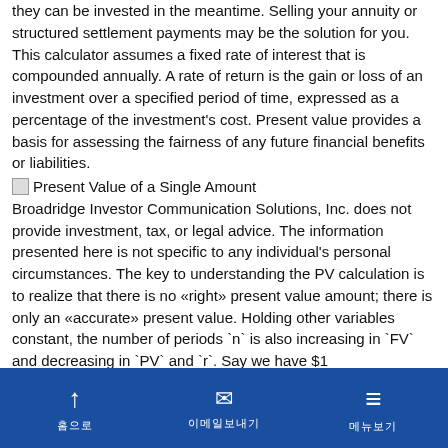they can be invested in the meantime. Selling your annuity or structured settlement payments may be the solution for you. This calculator assumes a fixed rate of interest that is compounded annually. A rate of return is the gain or loss of an investment over a specified period of time, expressed as a percentage of the investment's cost. Present value provides a basis for assessing the fairness of any future financial benefits or liabilities.
[Figure (other): Small broken image icon followed by text 'Present Value of a Single Amount']
Broadridge Investor Communication Solutions, Inc. does not provide investment, tax, or legal advice. The information presented here is not specific to any individual's personal circumstances. The key to understanding the PV calculation is to realize that there is no «right» present value amount; there is only an «accurate» present value. Holding other variables constant, the number of periods `n` is also increasing in `FV` and decreasing in `PV` and `r`. Say we have $1
↑ 홈으로  ✉ 이메일보내기  ≡ 메뉴보기